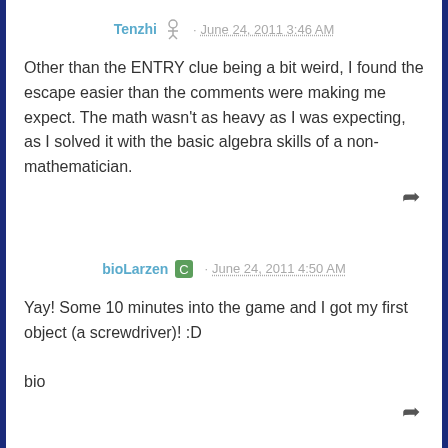Tenzhi · June 24, 2011 3:46 AM
Other than the ENTRY clue being a bit weird, I found the escape easier than the comments were making me expect. The math wasn't as heavy as I was expecting, as I solved it with the basic algebra skills of a non-mathematician.
bioLarzen · June 24, 2011 4:50 AM
Yay! Some 10 minutes into the game and I got my first object (a screwdriver)! :D

bio